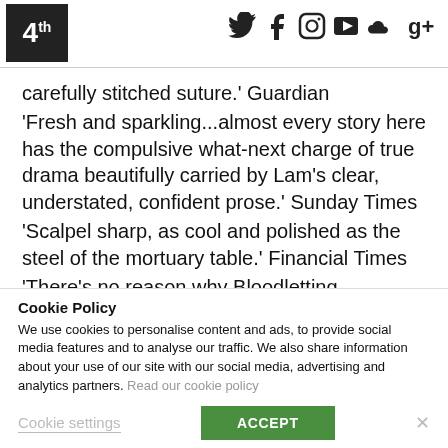4th [social icons: Twitter, Facebook, Instagram, YouTube, SoundCloud, Google+]
carefully stitched suture.' Guardian
'Fresh and sparkling...almost every story here has the compulsive what-next charge of true drama beautifully carried by Lam's clear, understated, confident prose.' Sunday Times
'Scalpel sharp, as cool and polished as the steel of the mortuary table.' Financial Times
'There's no reason why Bloodletting... shouldn't become as big a hit in this country as it has been in Canada.
Cookie Policy
We use cookies to personalise content and ads, to provide social media features and to analyse our traffic. We also share information about your use of our site with our social media, advertising and analytics partners. Read our cookie policy